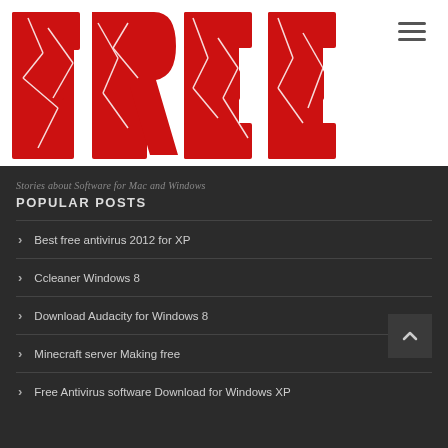[Figure (logo): FREE! logo in large cracked red distressed lettering on white background]
Stories about Software for Mac and Windows
POPULAR POSTS
Best free antivirus 2012 for XP
Ccleaner Windows 8
Download Audacity for Windows 8
Minecraft server Making free
Free Antivirus software Download for Windows XP